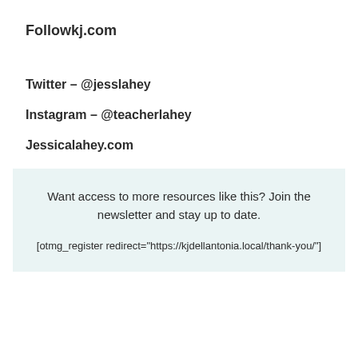Followkj.com
Twitter – @jesslahey
Instagram – @teacherlahey
Jessicalahey.com
Want access to more resources like this? Join the newsletter and stay up to date.

[otmg_register redirect="https://kjdellantonia.local/thank-you/"]